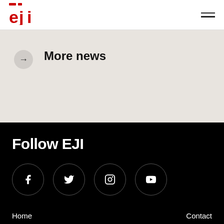[Figure (logo): EJI logo in red with stylized letters e, j, i and two red horizontal bars above]
More news
Follow EJI
[Figure (infographic): Four social media icons in circles: Facebook, Twitter, Instagram, YouTube]
Home
Contact